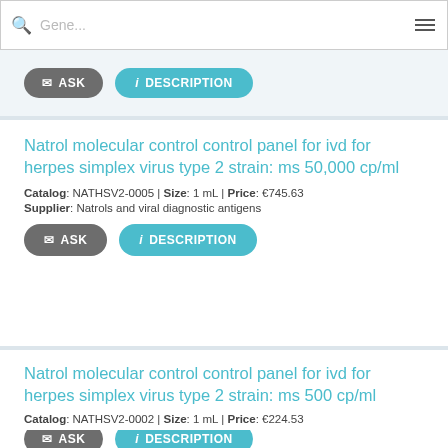[Figure (screenshot): Search bar with magnifying glass icon and placeholder text 'Gene...' and hamburger menu icon]
ASK | DESCRIPTION (buttons for previous product)
Natrol molecular control control panel for ivd for herpes simplex virus type 2 strain: ms 50,000 cp/ml
Catalog: NATHSV2-0005 | Size: 1 mL | Price: €745.63
Supplier: Natrols and viral diagnostic antigens
ASK | DESCRIPTION (buttons)
Natrol molecular control control panel for ivd for herpes simplex virus type 2 strain: ms 500 cp/ml
Catalog: NATHSV2-0002 | Size: 1 mL | Price: €224.53
Supplier: Natrols and viral diagnostic antigens
ASK | DESCRIPTION (buttons, partial)